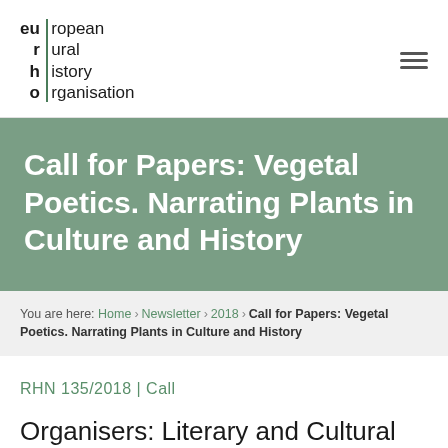european rural history organisation
Call for Papers: Vegetal Poetics. Narrating Plants in Culture and History
You are here: Home › Newsletter › 2018 › Call for Papers: Vegetal Poetics. Narrating Plants in Culture and History
RHN 135/2018 | Call
Organisers: Literary and Cultural Plant